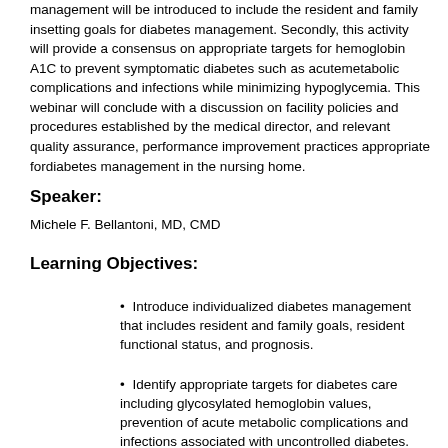management will be introduced to include the resident and family insetting goals for diabetes management. Secondly, this activity will provide a consensus on appropriate targets for hemoglobin A1C to prevent symptomatic diabetes such as acutemetabolic complications and infections while minimizing hypoglycemia. This webinar will conclude with a discussion on facility policies and procedures established by the medical director, and relevant quality assurance, performance improvement practices appropriate fordiabetes management in the nursing home.
Speaker:
Michele F. Bellantoni, MD, CMD
Learning Objectives:
Introduce individualized diabetes management that includes resident and family goals, resident functional status, and prognosis.
Identify appropriate targets for diabetes care including glycosylated hemoglobin values, prevention of acute metabolic complications and infections associated with uncontrolled diabetes.